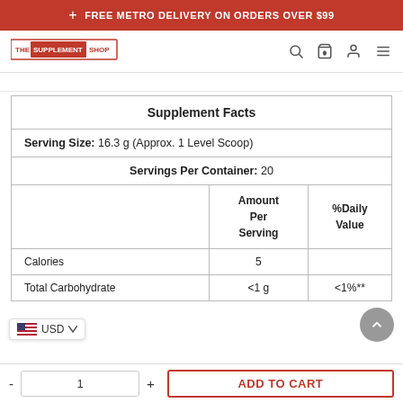FREE METRO DELIVERY ON ORDERS OVER $99
[Figure (logo): The Supplement Shop logo with red branding]
|  | Amount Per Serving | %Daily Value |
| --- | --- | --- |
| Supplement Facts |  |  |
| Serving Size: 16.3 g (Approx. 1 Level Scoop) |  |  |
| Servings Per Container: 20 |  |  |
| Calories | 5 |  |
| Total Carbohydrate | <1 g | <1%** |
USD
ADD TO CART